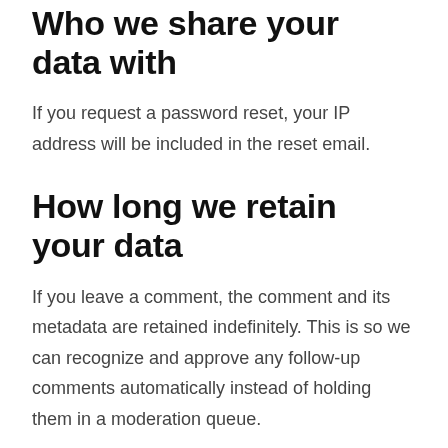Who we share your data with
If you request a password reset, your IP address will be included in the reset email.
How long we retain your data
If you leave a comment, the comment and its metadata are retained indefinitely. This is so we can recognize and approve any follow-up comments automatically instead of holding them in a moderation queue.
For users that register on our website (if any), we also store the personal information they provide in their user profile. All users can see, edit, or delete their personal information at any time (except they cannot change their